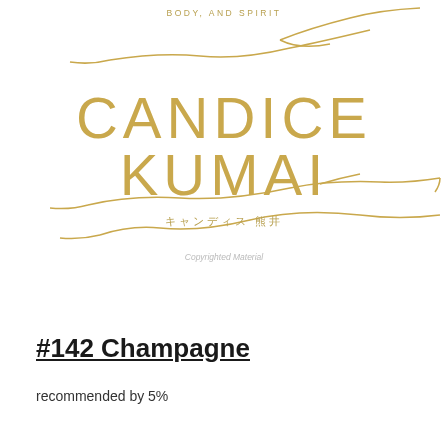BODY, AND SPIRIT
[Figure (illustration): Book cover illustration with golden branch/brushstroke decorative lines, large gold text reading CANDICE KUMAI, Japanese characters キャンディス 熊井, and a watermark reading Copyrighted Material]
#142 Champagne
recommended by 5%